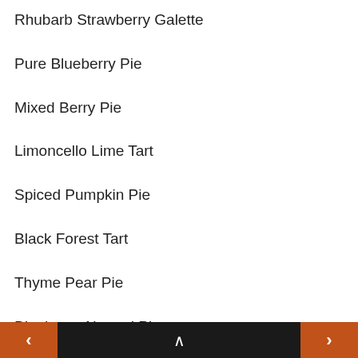Rhubarb Strawberry Galette
Pure Blueberry Pie
Mixed Berry Pie
Limoncello Lime Tart
Spiced Pumpkin Pie
Black Forest Tart
Thyme Pear Pie
Blueberry Almond Pie
Blackberry Lemon Curd Tart
< ^ >